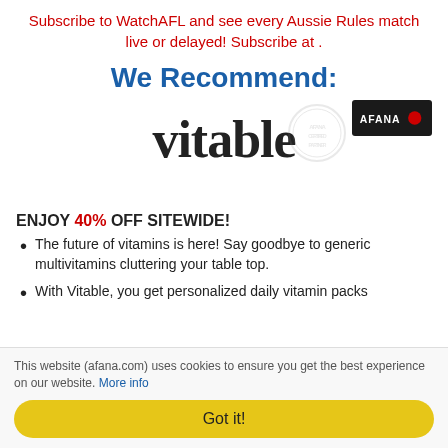Subscribe to WatchAFL and see every Aussie Rules match live or delayed! Subscribe at .
We Recommend:
[Figure (logo): Vitable logo in large bold serif font with a faint circular watermark stamp in the background]
[Figure (logo): Afana logo - dark background rectangular badge with red dot]
ENJOY 40% OFF SITEWIDE!
The future of vitamins is here! Say goodbye to generic multivitamins cluttering your table top.
With Vitable, you get personalized daily vitamin packs
This website (afana.com) uses cookies to ensure you get the best experience on our website. More info
Got it!